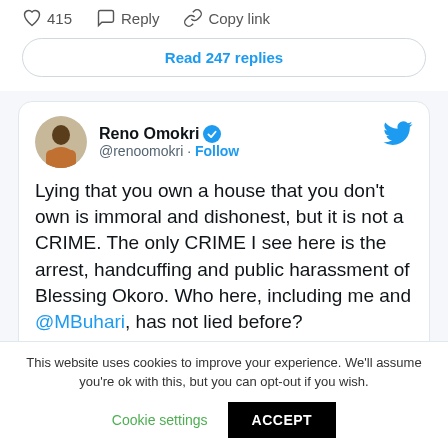415  Reply  Copy link
Read 247 replies
Reno Omokri @renoomokri · Follow
Lying that you own a house that you don't own is immoral and dishonest, but it is not a CRIME. The only CRIME I see here is the arrest, handcuffing and public harassment of Blessing Okoro. Who here, including me and @MBuhari, has not lied before? #FreeLeahSharibu #RenosNuggets
This website uses cookies to improve your experience. We'll assume you're ok with this, but you can opt-out if you wish.
Cookie settings  ACCEPT